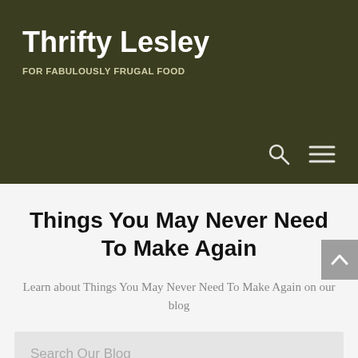Thrifty Lesley
FOR FABULOUSLY FRUGAL FOOD
Things You May Never Need To Make Again
Learn about Things You May Never Need To Make Again on our blog
Search Our Blog